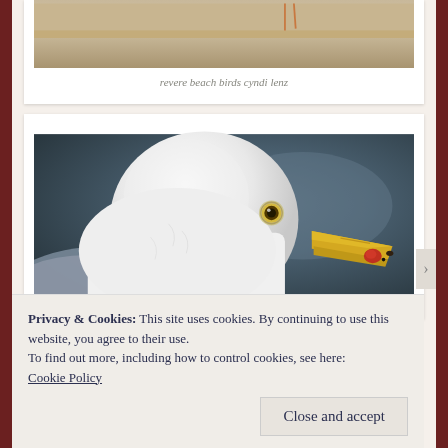[Figure (photo): Top portion of a beach/sand scene photo, partially cropped]
revere beach birds cyndi lenz
[Figure (photo): Close-up portrait of a seagull with white feathers, yellow beak with red spot, and a dark eye against a blurry grey-blue background]
Privacy & Cookies: This site uses cookies. By continuing to use this website, you agree to their use.
To find out more, including how to control cookies, see here: Cookie Policy
Close and accept